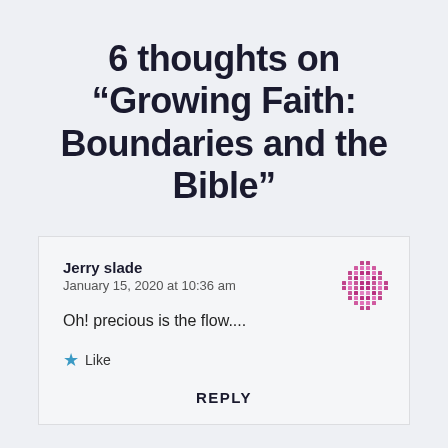6 thoughts on “Growing Faith: Boundaries and the Bible”
Jerry slade
January 15, 2020 at 10:36 am
Oh! precious is the flow....
★ Like
REPLY